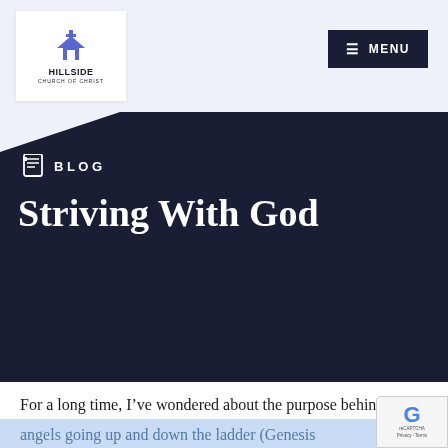[Figure (logo): Hillside Church of Christ logo with church building icon, white box on light blue background]
≡ MENU
BLOG
Striving With God
For a long time, I've wondered about the purpose behind Jacob's interactions with angels. There's one story about him seeing a vision from God of the angels going up and down the ladder (Genesis 28:10-17), as well as one with him wrestling a being